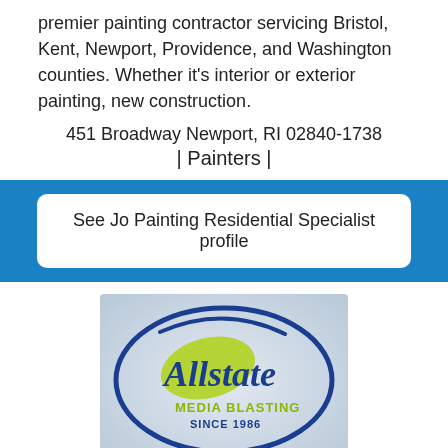premier painting contractor servicing Bristol, Kent, Newport, Providence, and Washington counties. Whether it's interior or exterior painting, new construction.
451 Broadway Newport, RI 02840-1738
| Painters |
See Jo Painting Residential Specialist profile
[Figure (logo): Allstate Media Blasting Since 1986 logo — blue oval outline with cursive blue 'Allstate' text and green 'MEDIA BLASTING SINCE 1986' text on a light grey textured background]